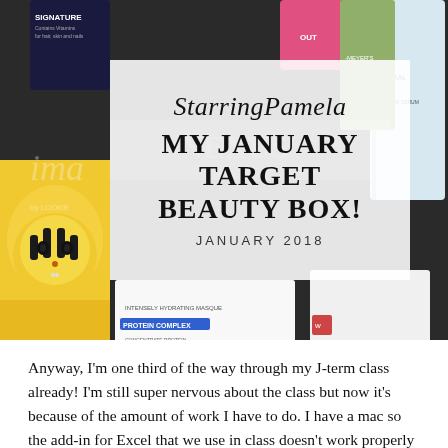[Figure (photo): Photo of beauty products including skincare items, a tiger-themed product, face masks labeled 'Intensely Hydrating Masque' with 'Protein Complex', a Vichy Mineral 89 bottle, and other cosmetic products arranged on a dark surface.]
StarringPamela
MY JANUARY TARGET BEAUTY BOX!
JANUARY 2018
Anyway, I'm one third of the way through my J-term class already! I'm still super nervous about the class but now it's because of the amount of work I have to do. I have a mac so the add-in for Excel that we use in class doesn't work properly